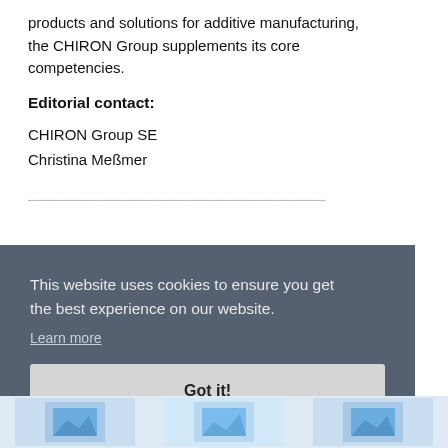products and solutions for additive manufacturing, the CHIRON Group supplements its core competencies.
Editorial contact:
CHIRON Group SE
Christina Meßmer
This website uses cookies to ensure you get the best experience on our website.
Learn more
Got it!
[Figure (photo): Bottom image strip showing product images]